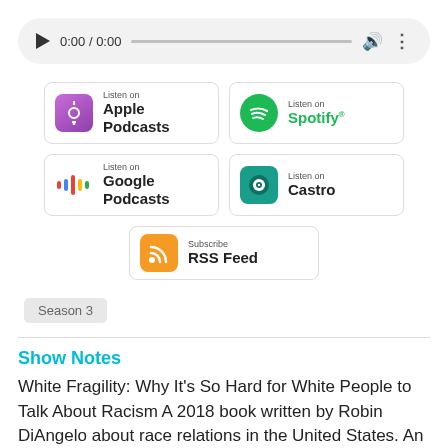[Figure (screenshot): Audio player bar showing play button, 0:00 / 0:00 time, progress bar, volume icon, and menu icon on light gray rounded background]
[Figure (screenshot): Podcast subscription badges: Listen on Apple Podcasts, Listen on Spotify, Listen on Google Podcasts, Listen on Castro, Subscribe RSS Feed]
Season 3
Show Notes
White Fragility: Why It's So Hard for White People to Talk About Racism A 2018 book written by Robin DiAngelo about race relations in the United States. An